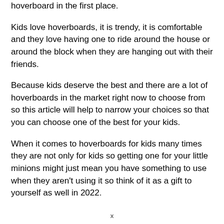hoverboard in the first place.
Kids love hoverboards, it is trendy, it is comfortable and they love having one to ride around the house or around the block when they are hanging out with their friends.
Because kids deserve the best and there are a lot of hoverboards in the market right now to choose from so this article will help to narrow your choices so that you can choose one of the best for your kids.
When it comes to hoverboards for kids many times they are not only for kids so getting one for your little minions might just mean you have something to use when they aren’t using it so think of it as a gift to yourself as well in 2022.
x